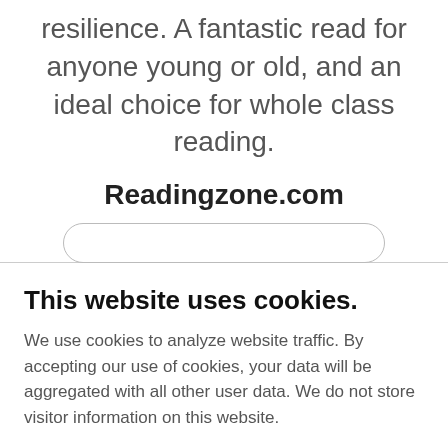resilience. A fantastic read for anyone young or old, and an ideal choice for whole class reading.
Readingzone.com
This website uses cookies.
We use cookies to analyze website traffic. By accepting our use of cookies, your data will be aggregated with all other user data. We do not store visitor information on this website.
DECLINE
ACCEPT